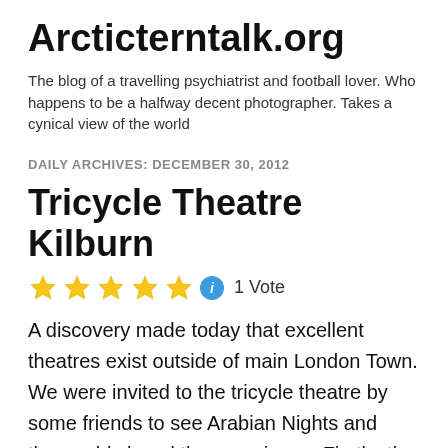Arcticterntalk.org
The blog of a travelling psychiatrist and football lover. Who happens to be a halfway decent photographer. Takes a cynical view of the world
DAILY ARCHIVES: DECEMBER 30, 2012
Tricycle Theatre Kilburn
★★★★★ ℹ 1 Vote
A discovery made today that excellent theatres exist outside of main London Town. We were invited to the tricycle theatre by some friends to see Arabian Nights and thoroughly loved the experience. Firstly  the theatre is easily accessible in Kilburn, either the underground will get you there or the Overground to Brondesbury. Secondly a nice bar for a pre-show drink ( not cheap though 10£ for 2